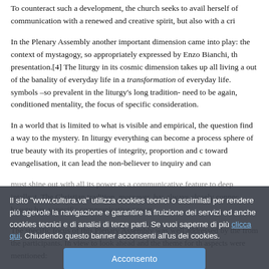To counteract such a development, the church seeks to avail herself of communication with a renewed and creative spirit, but also with a cri...
In the Plenary Assembly another important dimension came into play: the context of mystagogy, so appropriately expressed by Enzo Bianchi, th... presentation.[4] The liturgy in its cosmic dimension takes up all living a... out of the banality of everyday life in a transformation of everyday life. symbols –so prevalent in the liturgy's long tradition- need to be again, conditioned mentality, the focus of specific consideration.
In a world that is limited to what is visible and empirical, the question... find a way to the mystery. In liturgy everything can become a process... sphere of true beauty with its properties of integrity, proportion and o... toward evangelisation, it can lead the non-believer to inquiry and can...
must shine out with all its power as a communicative feature to deep... intellect. The Christian tradition, moreover, has always closely connec... beauty has a specific communicative power.
The specific focus of this Plenary Assembly was well addressed by the... from the participants. In view to look ahead and the theme for th... aspects were mentioned:
To become more acquainted with the grammar of the digital me...
Il sito "www.cultura.va" utilizza cookies tecnici o assimilati per rendere più agevole la navigazione e garantire la fruizione dei servizi ed anche cookies tecnici e di analisi di terze parti. Se vuoi saperne di più clicca qui. Chiudendo questo banner acconsenti all'us dei cookies.